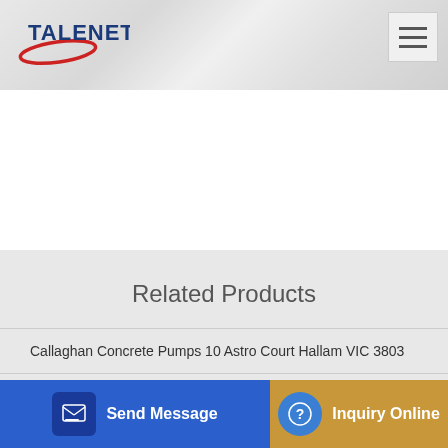[Figure (logo): TALENET company logo with red swoosh accent]
Related Products
Callaghan Concrete Pumps 10 Astro Court Hallam VIC 3803
advantages of central concrete mixing plant concrete mixing
...cks fr...
Send Message
Inquiry Online